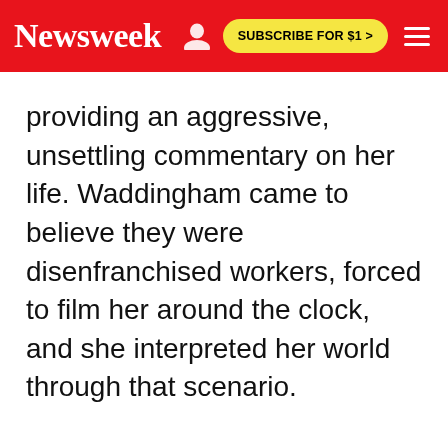Newsweek | SUBSCRIBE FOR $1 >
providing an aggressive, unsettling commentary on her life. Waddingham came to believe they were disenfranchised workers, forced to film her around the clock, and she interpreted her world through that scenario.